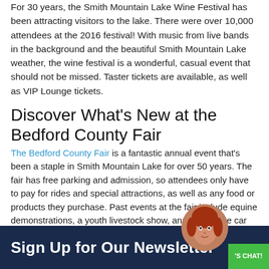For 30 years, the Smith Mountain Lake Wine Festival has been attracting visitors to the lake. There were over 10,000 attendees at the 2016 festival! With music from live bands in the background and the beautiful Smith Mountain Lake weather, the wine festival is a wonderful, casual event that should not be missed. Taster tickets are available, as well as VIP Lounge tickets.
Discover What's New at the Bedford County Fair
The Bedford County Fair is a fantastic annual event that's been a staple in Smith Mountain Lake for over 50 years. The fair has free parking and admission, so attendees only have to pay for rides and special attractions, as well as any food or products they purchase. Past events at the fair include equine demonstrations, a youth livestock show, and an antique car show.
Learn Our History at the Blue Ridge Folklife Festival
Sign Up for Our Newsletter